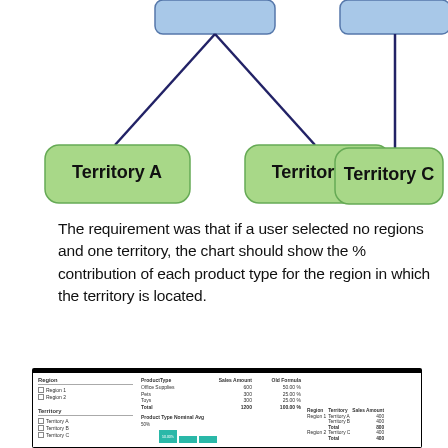[Figure (organizational-chart): Organizational chart showing two blue parent nodes at top, Territory A and Territory B connected to the left parent, and Territory C connected to the right parent. All child nodes are green rounded rectangles.]
The requirement was that if a user selected no regions and one territory, the chart should show the % contribution of each product type for the region in which the territory is located.
[Figure (screenshot): Screenshot of a BI report interface showing Region checkboxes (Region 1, Region 2), Territory checkboxes (Territory A, Territory B, Territory C), a data table with ProductType, Sales Amount, Old Formula columns showing Office Supplies 600 50.00%, Pets 300 25.00%, Toys 300 25.00%, Total 1200 100.00%, a bar chart titled Product Type Nominal Avg, and a right-side table showing Region 1 Territory A 400, Territory B 400, Total 800, Region 2 Territory C 400, Total 400.]